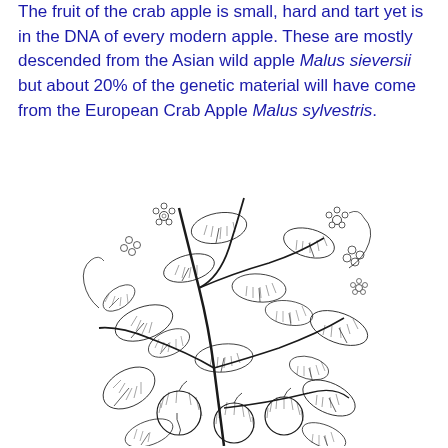The fruit of the crab apple is small, hard and tart yet is in the DNA of every modern apple. These are mostly descended from the Asian wild apple Malus sieversii but about 20% of the genetic material will have come from the European Crab Apple Malus sylvestris.
[Figure (illustration): Black and white botanical line drawing of a crab apple tree branch with leaves, flowers, and fruit (apples), densely illustrated in an engraving style.]